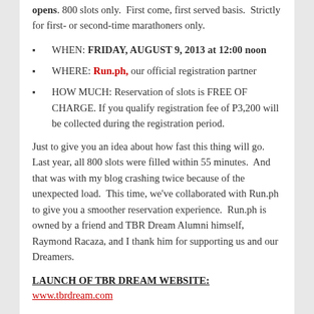opens. 800 slots only.  First come, first served basis.  Strictly for first- or second-time marathoners only.
WHEN: FRIDAY, AUGUST 9, 2013 at 12:00 noon
WHERE: Run.ph, our official registration partner
HOW MUCH: Reservation of slots is FREE OF CHARGE. If you qualify registration fee of P3,200 will be collected during the registration period.
Just to give you an idea about how fast this thing will go.  Last year, all 800 slots were filled within 55 minutes.  And that was with my blog crashing twice because of the unexpected load.  This time, we've collaborated with Run.ph to give you a smoother reservation experience.  Run.ph is owned by a friend and TBR Dream Alumni himself, Raymond Racaza, and I thank him for supporting us and our Dreamers.
LAUNCH OF TBR DREAM WEBSITE:
www.tbrdream.com